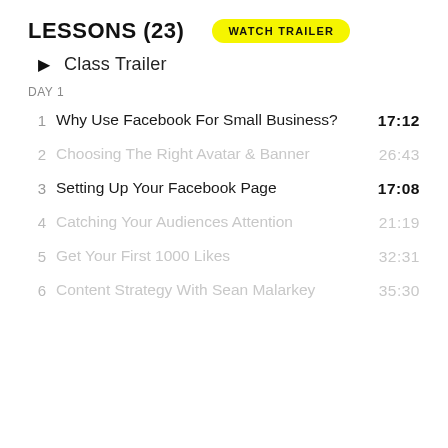LESSONS (23)
WATCH TRAILER
Class Trailer
DAY 1
1  Why Use Facebook For Small Business?  17:12
2  Choosing The Right Avatar & Banner  26:43
3  Setting Up Your Facebook Page  17:08
4  Catching Your Audiences Attention  21:19
5  Get Your First 1000 Likes  32:31
6  Content Strategy With Sean Malarkey  35:30